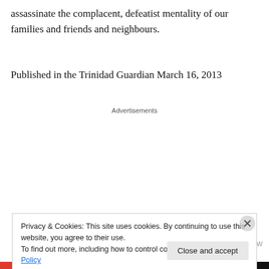assassinate the complacent, defeatist mentality of our families and friends and neighbours.
Published in the Trinidad Guardian March 16, 2013
Advertisements
[Figure (other): Pocket Casts advertisement banner with logo, 'DOWNLOAD NOW' text, and large bold headline 'Your next favorite podcast is here.' with product images of smartphones and app interface]
Privacy & Cookies: This site uses cookies. By continuing to use this website, you agree to their use.
To find out more, including how to control cookies, see here: Cookie Policy
Close and accept